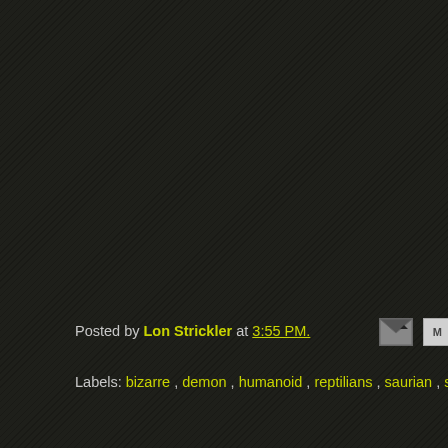Posted by Lon Strickler at 3:55 PM.
Labels: bizarre , demon , humanoid , reptilians , saurian , s…
Newer Post
Home